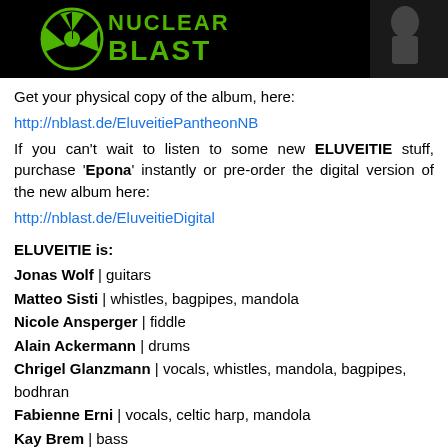[Figure (logo): Nuclear Blast logo banner — green stylized text 'NUCLEAR BLAST' with radiation symbol on black background]
Get your physical copy of the album, here:
http://nblast.de/EluveitiePantheonNB
If you can't wait to listen to some new ELUVEITIE stuff, purchase 'Epona' instantly or pre-order the digital version of the new album here:
http://nblast.de/EluveitieDigital
ELUVEITIE is:
Jonas Wolf | guitars
Matteo Sisti | whistles, bagpipes, mandola
Nicole Ansperger | fiddle
Alain Ackermann | drums
Chrigel Glanzmann | vocals, whistles, mandola, bagpipes, bodhran
Fabienne Erni | vocals, celtic harp, mandola
Kay Brem | bass
Michalina Malisz | hurdy gurdy
Rafael Salzmann | guitars